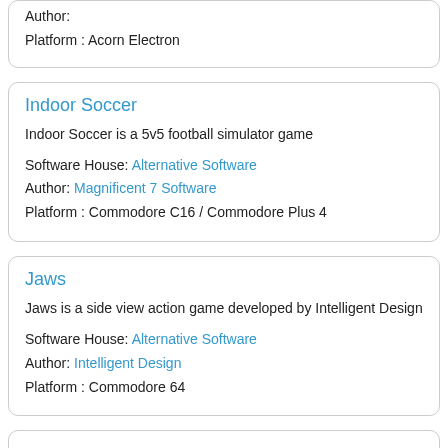Author:
Platform : Acorn Electron
Indoor Soccer
Indoor Soccer is a 5v5 football simulator game
Software House: Alternative Software
Author: Magnificent 7 Software
Platform : Commodore C16 / Commodore Plus 4
Jaws
Jaws is a side view action game developed by Intelligent Design
Software House: Alternative Software
Author: Intelligent Design
Platform : Commodore 64